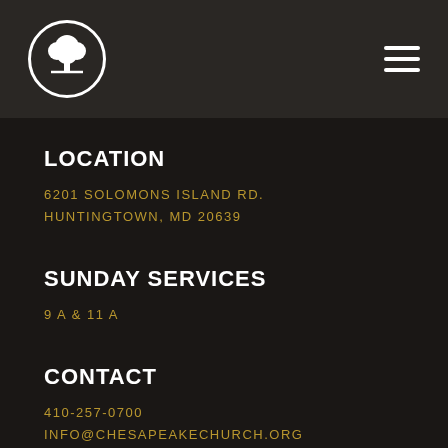[Figure (logo): Chesapeake Church logo: white circle with tree silhouette]
LOCATION
6201 SOLOMONS ISLAND RD.
HUNTINGTOWN, MD 20639
SUNDAY SERVICES
9 A & 11 A
CONTACT
410-257-0700
INFO@CHESAPEAKECHURCH.ORG